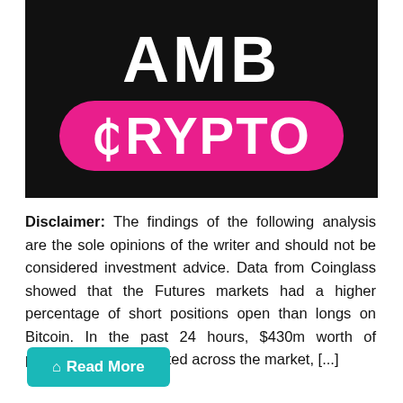[Figure (logo): AMB Crypto logo — white bold text 'AMB' above a hot-pink rounded pill containing white bold text 'CRYPTO' with a Bitcoin symbol replacing the C, on a black background]
Disclaimer: The findings of the following analysis are the sole opinions of the writer and should not be considered investment advice. Data from Coinglass showed that the Futures markets had a higher percentage of short positions open than longs on Bitcoin. In the past 24 hours, $430m worth of positions were liquidated across the market, [...]
Read More